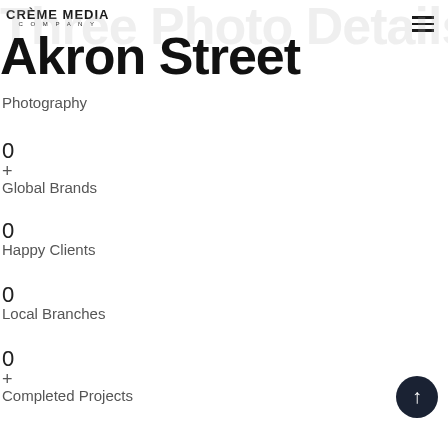CRÈME MEDIA COMPANY
Akron Street
Photography
0
+
Global Brands
0
Happy Clients
0
Local Branches
0
+
Completed Projects